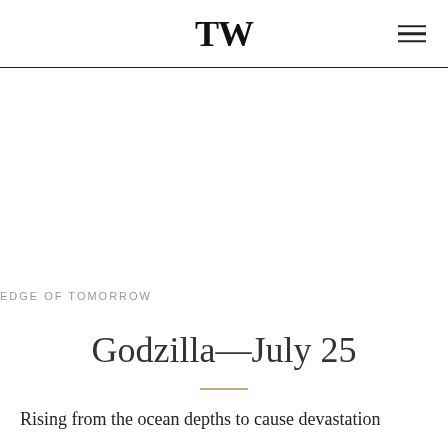TW
EDGE OF TOMORROW
Godzilla—July 25
Rising from the ocean depths to cause devastation